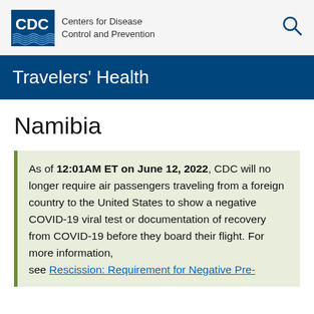[Figure (logo): CDC Centers for Disease Control and Prevention logo with blue box and organization name]
Travelers' Health
Namibia
As of 12:01AM ET on June 12, 2022, CDC will no longer require air passengers traveling from a foreign country to the United States to show a negative COVID-19 viral test or documentation of recovery from COVID-19 before they board their flight. For more information, see Rescission: Requirement for Negative Pre-